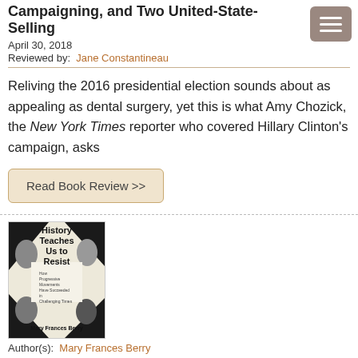Campaigning, and Two United-State-Selling
April 30, 2018
Reviewed by: Jane Constantineau
Reliving the 2016 presidential election sounds about as appealing as dental surgery, yet this is what Amy Chozick, the New York Times reporter who covered Hillary Clinton’s campaign, asks
Read Book Review >>
[Figure (photo): Book cover of 'History Teaches Us to Resist: How Progressive Movements Have Succeeded in Challenging Times' by Mary Frances Berry]
Author(s): Mary Frances Berry